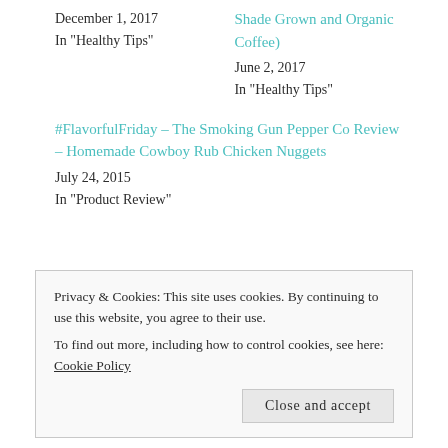December 1, 2017
In "Healthy Tips"
Shade Grown and Organic Coffee)
June 2, 2017
In "Healthy Tips"
#FlavorfulFriday – The Smoking Gun Pepper Co Review – Homemade Cowboy Rub Chicken Nuggets
July 24, 2015
In "Product Review"
Privacy & Cookies: This site uses cookies. By continuing to use this website, you agree to their use.
To find out more, including how to control cookies, see here: Cookie Policy
Close and accept